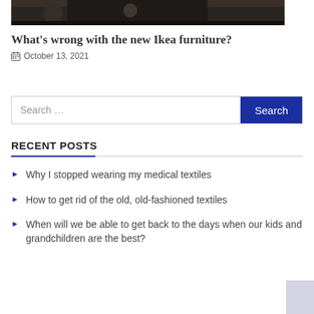[Figure (photo): Dark-toned photo at top of page, partially cropped]
What's wrong with the new Ikea furniture?
October 13, 2021
Search …
RECENT POSTS
Why I stopped wearing my medical textiles
How to get rid of the old, old-fashioned textiles
When will we be able to get back to the days when our kids and grandchildren are the best?